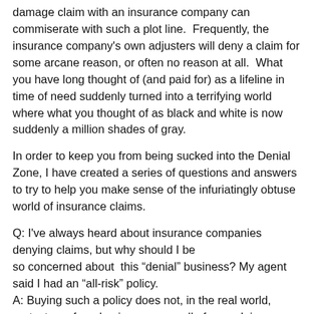damage claim with an insurance company can commiserate with such a plot line.  Frequently, the insurance company's own adjusters will deny a claim for some arcane reason, or often no reason at all.  What you have long thought of (and paid for) as a lifeline in time of need suddenly turned into a terrifying world where what you thought of as black and white is now suddenly a million shades of gray.
In order to keep you from being sucked into the Denial Zone, I have created a series of questions and answers to try to help you make sense of the infuriatingly obtuse world of insurance claims.
Q: I've always heard about insurance companies denying claims, but why should I be so concerned about  this “denial” business? My agent said I had an “all-risk” policy.
A: Buying such a policy does not, in the real world, protect you from having some or all of your claim denied.
Q: Realistically, what are the odds that the insurance company will deny some or all of my claim?